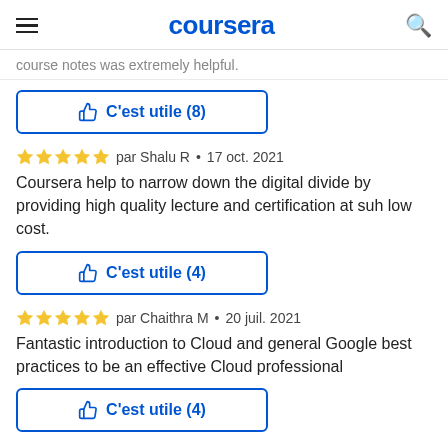coursera
course notes was extremely helpful.
C'est utile (8)
par Shalu R · 17 oct. 2021
Coursera help to narrow down the digital divide by providing high quality lecture and certification at suh low cost.
C'est utile (4)
par Chaithra M · 20 juil. 2021
Fantastic introduction to Cloud and general Google best practices to be an effective Cloud professional
C'est utile (4)